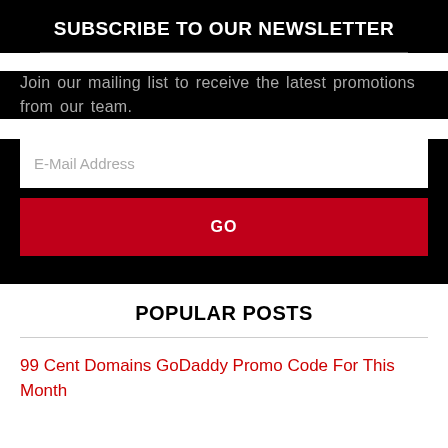SUBSCRIBE TO OUR NEWSLETTER
Join our mailing list to receive the latest promotions from our team.
POPULAR POSTS
99 Cent Domains GoDaddy Promo Code For This Month